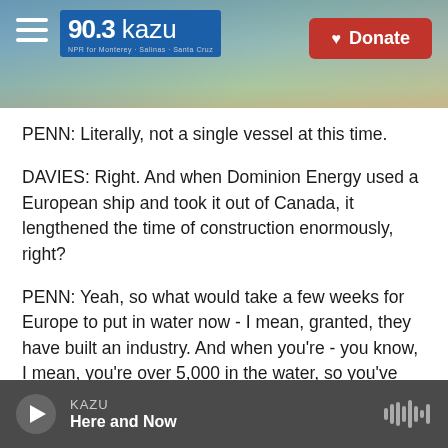[Figure (screenshot): KAZU 90.3 radio station website header banner with coastal landscape background, hamburger menu icon, KAZU logo in blue box, and red Donate button]
PENN: Literally, not a single vessel at this time.
DAVIES: Right. And when Dominion Energy used a European ship and took it out of Canada, it lengthened the time of construction enormously, right?
PENN: Yeah, so what would take a few weeks for Europe to put in water now - I mean, granted, they have built an industry. And when you're - you know, I mean, you're over 5,000 in the water, so you've kind of figured this out. They can do it in a few
KAZU Here and Now